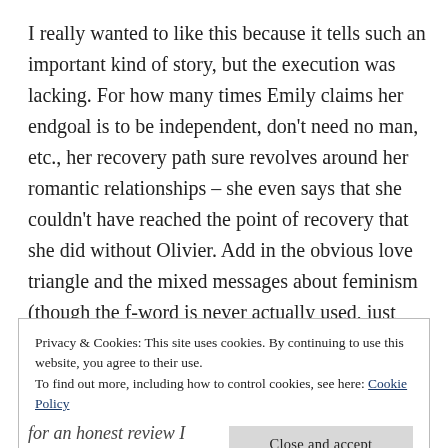I really wanted to like this because it tells such an important kind of story, but the execution was lacking. For how many times Emily claims her endgoal is to be independent, don't need no man, etc., her recovery path sure revolves around her romantic relationships – she even says that she couldn't have reached the point of recovery that she did without Olivier. Add in the obvious love triangle and the mixed messages about feminism (though the f-word is never actually used, just implied alongside the matter-of-fact observations and attitudes), and you've got an
Privacy & Cookies: This site uses cookies. By continuing to use this website, you agree to their use.
To find out more, including how to control cookies, see here: Cookie Policy
for an honest review I